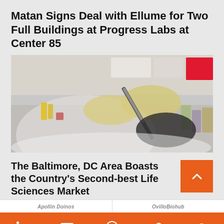Matan Signs Deal with Ellume for Two Full Buildings at Progress Labs at Center 85
[Figure (photo): Laboratory photo showing gloved hands handling a syringe or pipette with laboratory equipment in background]
The Baltimore, DC Area Boasts the Country's Second-best Life Sciences Market
Apollin Doinos
OvilloBiohub
Social sharing bar with LinkedIn, email, SMS, link, and another icon